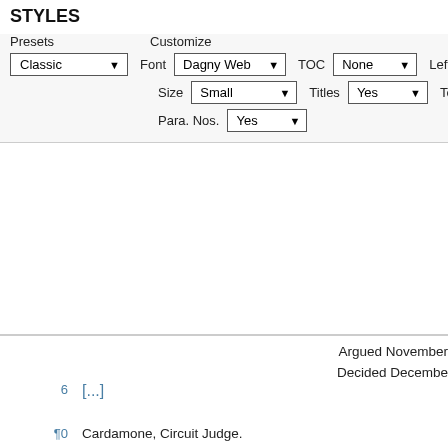STYLES
Presets   Customize
Classic ▾   Font  Dagny Web ▾   TOC  None ▾   Left  1.0in
                Size  Small ▾    Titles  Yes ▾   Top   1.0in
                               Para. Nos.  Yes ▾
Argued November
Decided Decembe
6
[...]
¶0
Cardamone, Circuit Judge.
12
Plaintiffs Judi Boisson and her wholly-owned compa Inc., d/b/a Judi Boisson American Country, brought the Eastern District of New York (Platt, J.), alleging t owned company Banian Ltd., illegally copied two qu copyright registrations. Following a bench trial, the t copyright infringement, ruled that defendants' quilts deemed were the protectible elements of plaintiffs'